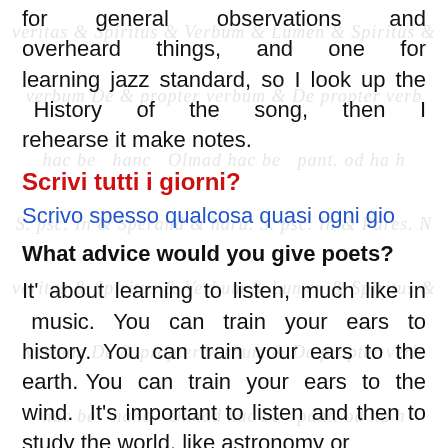for general observations and overheard things, and one for learning jazz standard, so I look up the History of the song, then I rehearse it make notes.
Scrivi tutti i giorni?
Scrivo spesso qualcosa quasi ogni gio
What advice would you give poets?
It' about learning to listen, much like in music. You can train your ears to history. You can train your ears to the earth. You can train your ears to the wind. It's important to listen and then to study the world, like astronomy or